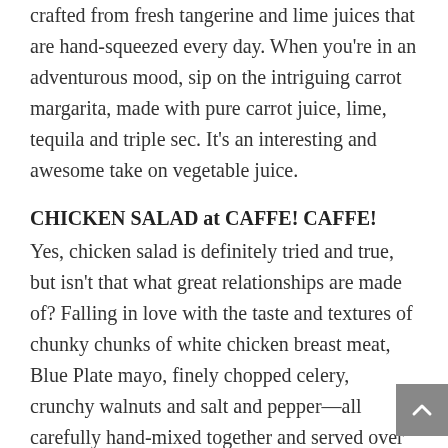crafted from fresh tangerine and lime juices that are hand-squeezed every day. When you're in an adventurous mood, sip on the intriguing carrot margarita, made with pure carrot juice, lime, tequila and triple sec. It's an interesting and awesome take on vegetable juice.
CHICKEN SALAD at CAFFE! CAFFE!
Yes, chicken salad is definitely tried and true, but isn't that what great relationships are made of? Falling in love with the taste and textures of chunky chunks of white chicken breast meat, Blue Plate mayo, finely chopped celery, crunchy walnuts and salt and pepper—all carefully hand-mixed together and served over fresh iceberg, romaine lettuces and baby greens, garnished with tomato wedges and alfalfa sprouts—is